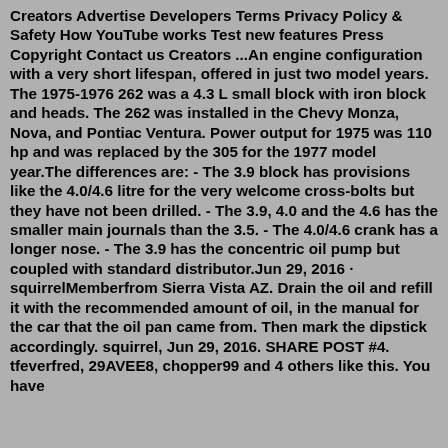Creators Advertise Developers Terms Privacy Policy & Safety How YouTube works Test new features Press Copyright Contact us Creators ...An engine configuration with a very short lifespan, offered in just two model years. The 1975-1976 262 was a 4.3 L small block with iron block and heads. The 262 was installed in the Chevy Monza, Nova, and Pontiac Ventura. Power output for 1975 was 110 hp and was replaced by the 305 for the 1977 model year.The differences are: - The 3.9 block has provisions like the 4.0/4.6 litre for the very welcome cross-bolts but they have not been drilled. - The 3.9, 4.0 and the 4.6 has the smaller main journals than the 3.5. - The 4.0/4.6 crank has a longer nose. - The 3.9 has the concentric oil pump but coupled with standard distributor.Jun 29, 2016 · squirrelMemberfrom Sierra Vista AZ. Drain the oil and refill it with the recommended amount of oil, in the manual for the car that the oil pan came from. Then mark the dipstick accordingly. squirrel, Jun 29, 2016. SHARE POST #4. tfeverfred, 29AVEE8, chopper99 and 4 others like this. You have